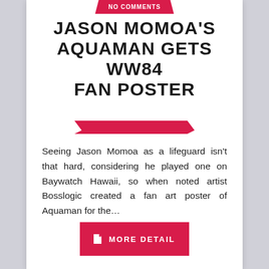NO COMMENTS
JASON MOMOA'S AQUAMAN GETS WW84 FAN POSTER
Seeing Jason Momoa as a lifeguard isn't that hard, considering he played one on Baywatch Hawaii, so when noted artist Bosslogic created a fan art poster of Aquaman for the…
MORE DETAIL